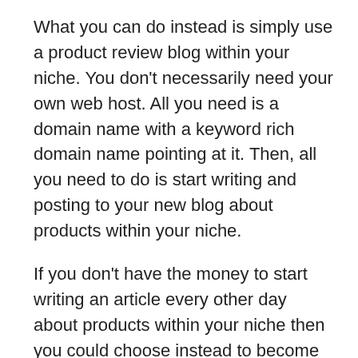What you can do instead is simply use a product review blog within your niche. You don't necessarily need your own web host. All you need is a domain name with a keyword rich domain name pointing at it. Then, all you need to do is start writing and posting to your new blog about products within your niche.
If you don't have the money to start writing an article every other day about products within your niche then you could choose instead to become an affiliate marketer for a product review website that specializes in reviewing just one niche product. These sites tend to be free to sign up for and offer a simple point-and-click interface. And once you've gotten a few products reviewed then you can set up your own product review blog and start writing reviews on those products. You'll soon see your traffic numbers go up and your sales numbers go up as well.